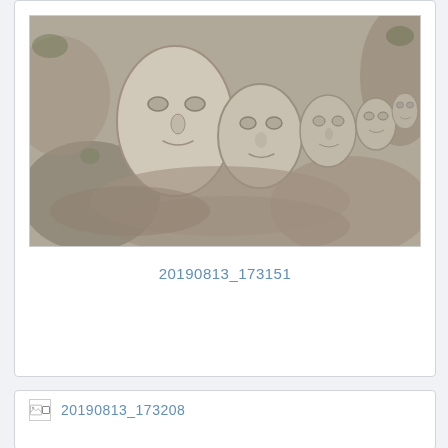[Figure (photo): Photo of rock carvings showing multiple faces carved into stone, arranged in a group of varying sizes from large to small, on a textured rocky surface with lichen.]
20190813_173151
[Figure (photo): Broken/missing image placeholder with filename label 20190813_173208]
20190813_173208